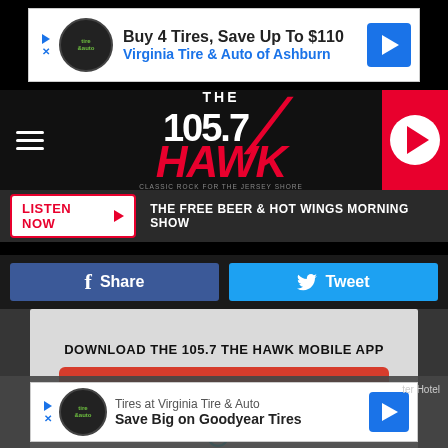[Figure (screenshot): Top advertisement banner: Buy 4 Tires, Save Up To $110 - Virginia Tire & Auto of Ashburn]
[Figure (logo): 105.7 The Hawk radio station logo with hamburger menu and play button]
THE FREE BEER & HOT WINGS MORNING SHOW
Share
Tweet
DOWNLOAD THE 105.7 THE HAWK MOBILE APP
GET OUR FREE MOBILE APP
Also listen on: amazon alexa
[Figure (screenshot): Bottom advertisement: Tires at Virginia Tire & Auto - Save Big on Goodyear Tires]